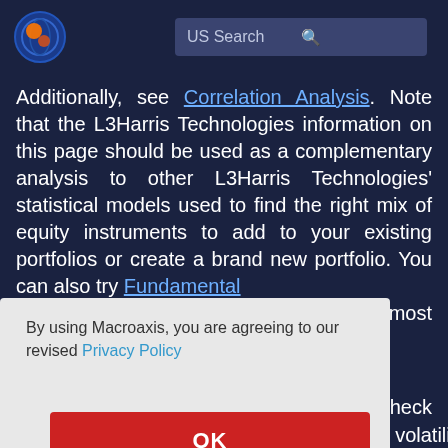[Figure (logo): Macroaxis circular logo with orange and blue design]
US Search
Additionally, see Correlation Analysis. Note that the L3Harris Technologies information on this page should be used as a complementary analysis to other L3Harris Technologies' statistical models used to find the right mix of equity instruments to add to your existing portfolios or create a brand new portfolio. You can also try Fundamental
n most
By using Macroaxis, you are agreeing to our revised Privacy Policy
OK
check
to measure L3Harris Technologies' market volatility,